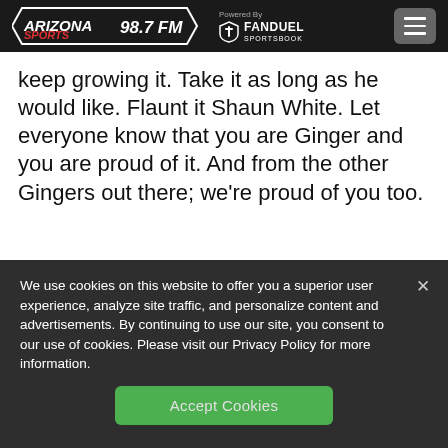Arizona Sports 98.7 FM — Powered By FanDuel Sportsbook
keep growing it. Take it as long as he would like. Flaunt it Shaun White. Let everyone know that you are Ginger and you are proud of it. And from the other Gingers out there; we're proud of you too.
We use cookies on this website to offer you a superior user experience, analyze site traffic, and personalize content and advertisements. By continuing to use our site, you consent to our use of cookies. Please visit our Privacy Policy for more information.
Accept Cookies